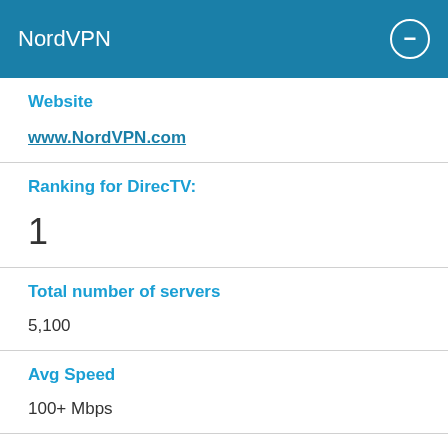NordVPN
Website
www.NordVPN.com
Ranking for DirecTV:
1
Total number of servers
5,100
Avg Speed
100+ Mbps
Activity logs